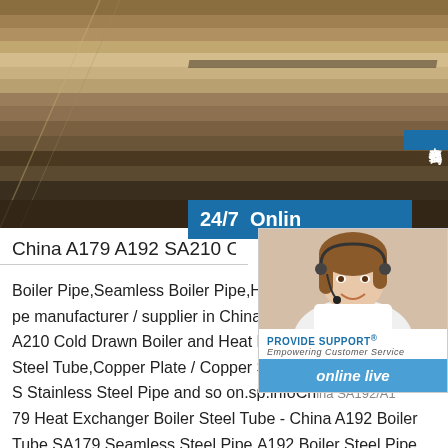[Figure (photo): Stack of steel plates photographed from above/side angle, showing layered metal sheets with rusty/dark surfaces]
[Figure (infographic): 24/7 Online support widget with customer service representative photo, Provide Support branding, and online live chat button]
China A179 A192 SA210 Cold Drawn Bo
Boiler Pipe,Seamless Boiler Pipe,High P pe manufacturer / supplier in China,offer A210 Cold Drawn Boiler and Heat Exch Steel Tube,Copper Plate / Copper Sheet S Stainless Steel Pipe and so on.sp.infoCh ina SA192/A179 Heat Exchanger Boiler Steel Tube - China A192 Boiler Tube,SA179 Seamless Steel Pipe,A192 Boiler Steel Pipe manufacturer / supplier in China,offering SA192/A179 Heat Exchanger Boiler Steel Tube,ASTM A36 Q235 Ss400 HRC Mild Carbon Steel Plate A36 Carbon Steel Q355 S3